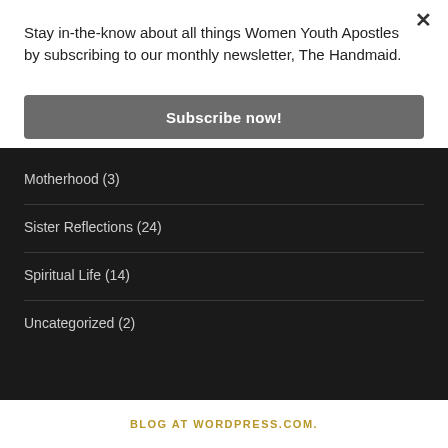Stay in-the-know about all things Women Youth Apostles by subscribing to our monthly newsletter, The Handmaid.
×
Subscribe now!
Motherhood (3)
Sister Reflections (24)
Spiritual Life (14)
Uncategorized (2)
BLOG AT WORDPRESS.COM.